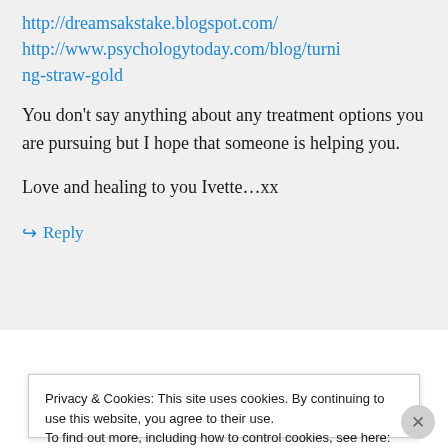http://dreamsakstake.blogspot.com/ http://www.psychologytoday.com/blog/turning-straw-gold
You don’t say anything about any treatment options you are pursuing but I hope that someone is helping you.
Love and healing to you Ivette…xx
↪ Reply
Privacy & Cookies: This site uses cookies. By continuing to use this website, you agree to their use.
To find out more, including how to control cookies, see here: Cookie Policy
Close and accept